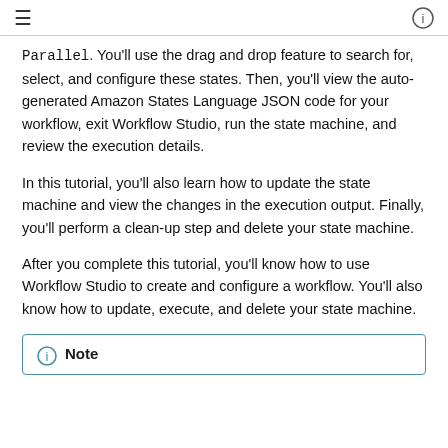≡   ⓘ
Parallel. You'll use the drag and drop feature to search for, select, and configure these states. Then, you'll view the auto-generated Amazon States Language JSON code for your workflow, exit Workflow Studio, run the state machine, and review the execution details.
In this tutorial, you'll also learn how to update the state machine and view the changes in the execution output. Finally, you'll perform a clean-up step and delete your state machine.
After you complete this tutorial, you'll know how to use Workflow Studio to create and configure a workflow. You'll also know how to update, execute, and delete your state machine.
Note